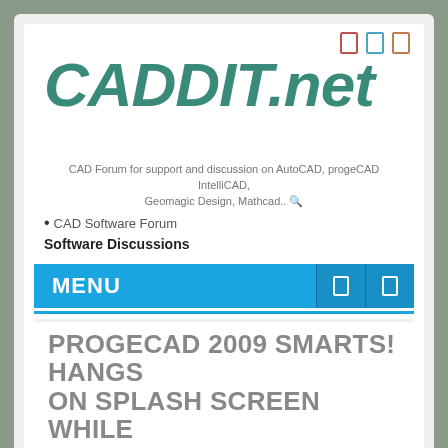[Figure (logo): CADDIT.net logo in large teal italic bold text]
CAD Forum for support and discussion on AutoCAD, progeCAD IntelliCAD, Geomagic Design, Mathcad.. 🔍
CAD Software Forum
Software Discussions
MENU
PROGECAD AND AUTOCAD FORUM
← progeCAD support, tips and troubleshooting forum. progeCAD works very similar to some versions of AutoCAD. Moderated.
It is currently Tue Aug 30, 2022 3:58 pm
PROGECAD 2009 SMARTS! HANGS ON SPLASH SCREEN WHILE